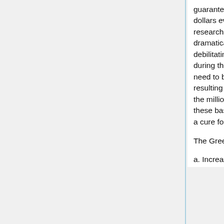guaranteed sales of very expensive drugs, in the billions of dollars every year. Drug companies have not emphasized research that targets a cure. While new drugs have dramatically saved lives, many have side effects so debilitating that the quality of life is poor, if not intolerable during the extended lifetime of the patient. But even these need to be produced generically to stop the devastation resulting from corporate refusal to provide these drugs to the millions dying throughout the world who cannot afford these basic lifesaving drugs. Drug researchers should have a cure for AIDS as their ultimate goal.
The Green Party calls for:
a. Increased funding for AIDS education and patient care.